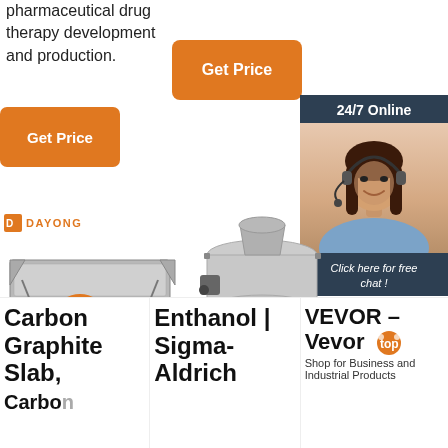pharmaceutical drug therapy development and production.
[Figure (other): Orange 'Get Price' button (top center)]
[Figure (other): Orange 'Get Price' button (left side)]
[Figure (other): 24/7 Online chat advertisement sidebar with woman wearing headset, 'Click here for free chat!' text and QUOTATION button]
[Figure (logo): DAYONG logo with orange icon]
[Figure (photo): Industrial vibrating screen/sieve machine (Dayong brand)]
[Figure (photo): Industrial round sieve/filter machine on orange stand]
Carbon Graphite Slab, Carbon
Enthanol | Sigma-Aldrich
VEVOR – Vevor
Shop for Business and Industrial Products